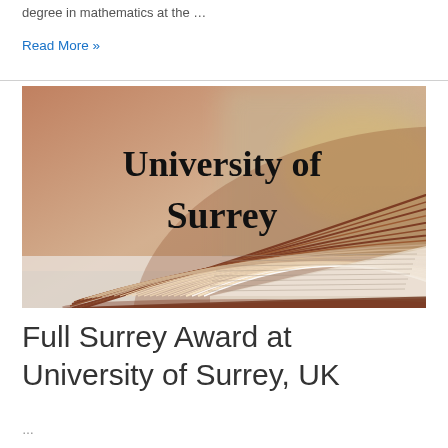degree in mathematics at the …
Read More »
[Figure (photo): Open book fanned out with text overlay reading 'University of Surrey' in bold serif font on a blurred warm background]
Full Surrey Award at University of Surrey, UK
...